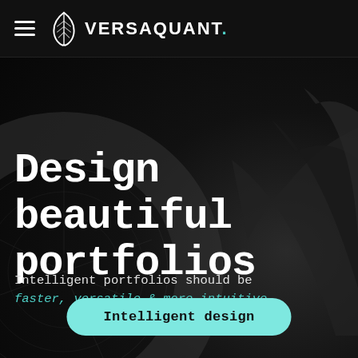VERSAQUANT.
Design beautiful portfolios
Intelligent portfolios should be faster, versatile & more intuitive.
Intelligent design